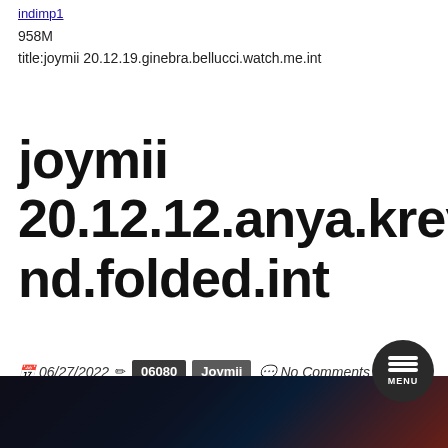indimp1
958M
title:joymii 20.12.19.ginebra.bellucci.watch.me.int
joymii 20.12.12.anya.krey.blind.folded.int
06/27/2022  06080  Joymii  No Comments
[Figure (photo): Dark thumbnail image with red element, bottom of page]